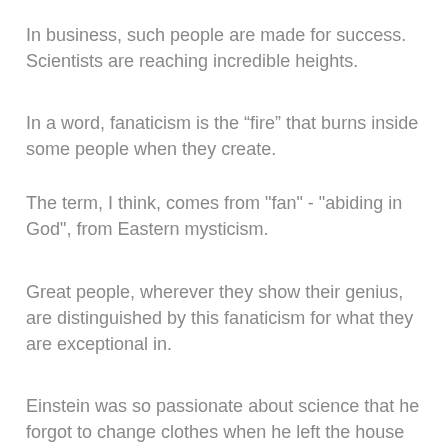In business, such people are made for success. Scientists are reaching incredible heights.
In a word, fanaticism is the “fire” that burns inside some people when they create.
The term, I think, comes from "fan" - "abiding in God", from Eastern mysticism.
Great people, wherever they show their genius, are distinguished by this fanaticism for what they are exceptional in.
Einstein was so passionate about science that he forgot to change clothes when he left the house where his wife was caring for him.